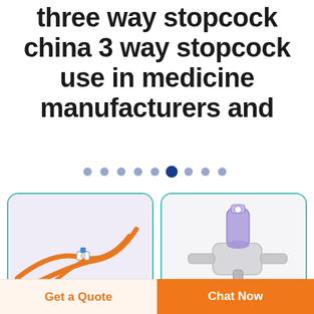three way stopcock china 3 way stopcock use in medicine manufacturers and
[Figure (other): Pagination dots row with one highlighted blue dot in the center]
[Figure (photo): Orange IV tubing three-way stopcock medical device on white/lavender background]
[Figure (photo): Purple and grey three-way stopcock valve medical device on white background]
Get a Quote
Chat Now